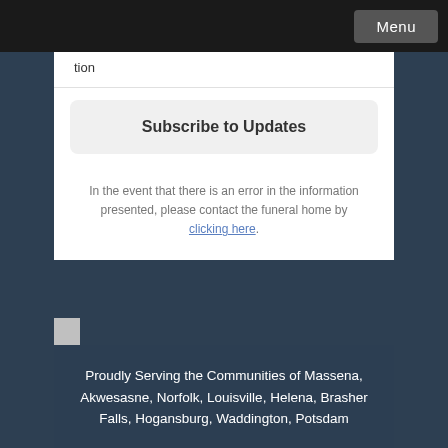Menu
tion
Subscribe to Updates
In the event that there is an error in the information presented, please contact the funeral home by clicking here.
Proudly Serving the Communities of Massena, Akwesasne, Norfolk, Louisville, Helena, Brasher Falls, Hogansburg, Waddington, Potsdam